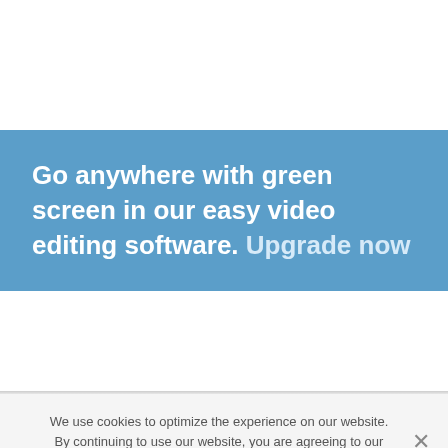Go anywhere with green screen in our easy video editing software. Upgrade now
We use cookies to optimize the experience on our website. By continuing to use our website, you are agreeing to our use of cookies. You can learn more in our Privacy Policy.